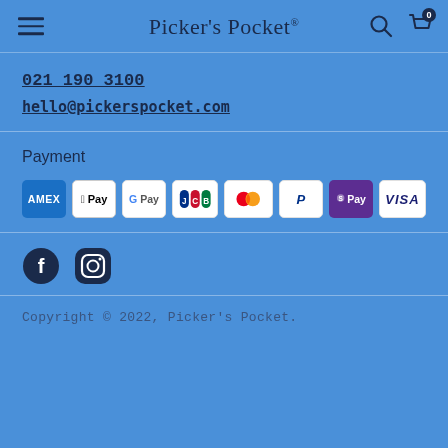Picker's Pocket®
021 190 3100
hello@pickerspocket.com
Payment
[Figure (logo): Payment method icons: AMEX, Apple Pay, Google Pay, JCB, Mastercard, PayPal, Shop Pay, Visa]
[Figure (logo): Social media icons: Facebook and Instagram]
Copyright © 2022, Picker's Pocket.